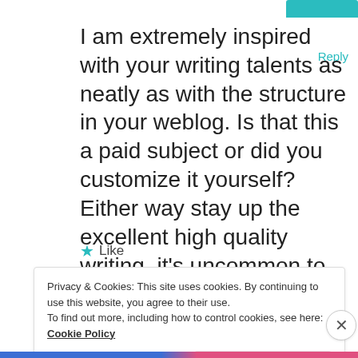[Figure (other): Teal/cyan colored avatar or icon bar in top right corner]
Reply
I am extremely inspired with your writing talents as neatly as with the structure in your weblog. Is that this a paid subject or did you customize it yourself? Either way stay up the excellent high quality writing, it’s uncommon to peer a great blog like this one nowadays..
★ Like
Privacy & Cookies: This site uses cookies. By continuing to use this website, you agree to their use.
To find out more, including how to control cookies, see here: Cookie Policy
Close and accept